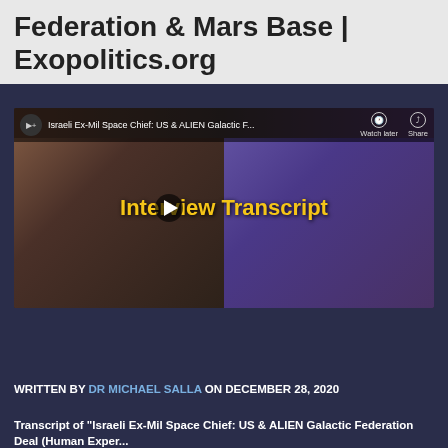Federation & Mars Base | Exopolitics.org
[Figure (screenshot): YouTube video thumbnail showing two people in a split-screen interview, with text overlay 'Interview Transcript' in yellow. Top bar shows 'Israeli Ex-Mil Space Chief: US & ALIEN Galactic F...' Below are two news article snippets: Jerusalem Post - 'Former Israeli space security chief says aliens exist, humanity not ready' and Forbes - '2020 Looks To Be Ending With A Bang, With The Reveal Of The Galactic Federation']
WRITTEN BY DR MICHAEL SALLA ON DECEMBER 28, 2020
Transcript of "Israeli Ex-Mil Space Chief: US & ALIEN Galactic Federation Deal (Human Experiments) & Mars Base" with Dr Michael Sall...